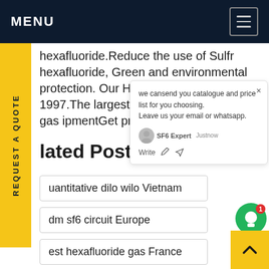MENU
hexafluoride.Reduce the use of Sulfr hexafluoride, Green and environmental protection. Our History Founded in 1997.The largest manufacturer of sf 6 gas equipment Get price
Related Post
quantitative dilo wilo Vietnam
odm sf6 circuit Europe
best hexafluoride gas France
oem sf6 insulation Turkey
110kv sf6 gas switchgear Finland